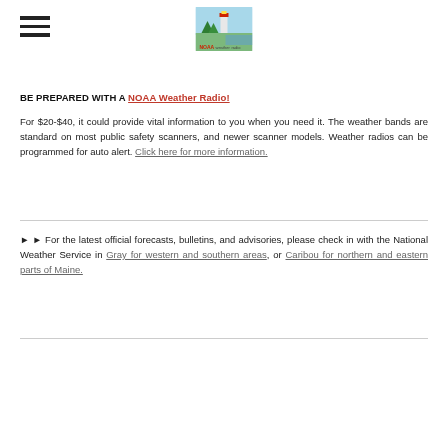NOAA Weather Radio logo header with hamburger menu
BE PREPARED WITH A NOAA Weather Radio!
For $20-$40, it could provide vital information to you when you need it. The weather bands are standard on most public safety scanners, and newer scanner models. Weather radios can be programmed for auto alert. Click here for more information.
►► For the latest official forecasts, bulletins, and advisories, please check in with the National Weather Service in Gray for western and southern areas, or Caribou for northern and eastern parts of Maine.